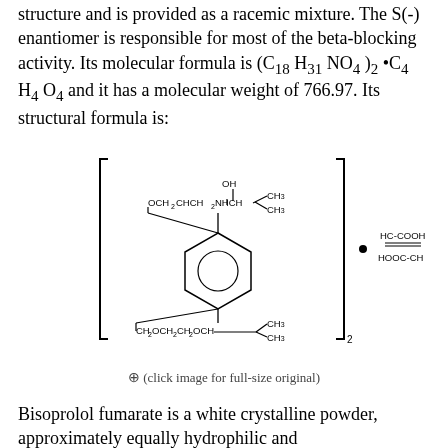structure and is provided as a racemic mixture. The S(-) enantiomer is responsible for most of the beta-blocking activity. Its molecular formula is (C18 H31 NO4 )2 •C4 H4 O4 and it has a molecular weight of 766.97. Its structural formula is:
[Figure (engineering-diagram): Structural chemical formula of bisoprolol fumarate showing a benzene ring with substituents OCH2CHCH2NHCH(CH3)2 with OH group at top, and CH2OCH2CH2OCH(CH3)2 at bottom, enclosed in brackets with subscript 2, multiplied by fumaric acid structure HC-COOH double bond HOOC-CH]
(click image for full-size original)
Bisoprolol fumarate is a white crystalline powder, approximately equally hydrophilic and